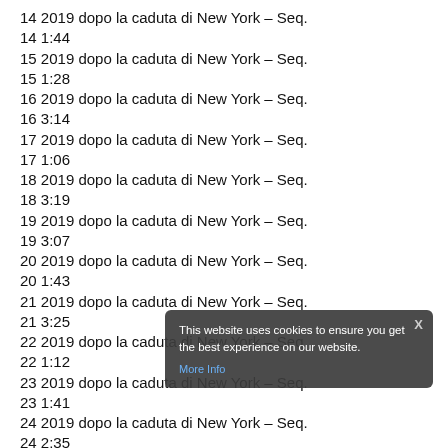14 2019 dopo la caduta di New York – Seq. 14 1:44
15 2019 dopo la caduta di New York – Seq. 15 1:28
16 2019 dopo la caduta di New York – Seq. 16 3:14
17 2019 dopo la caduta di New York – Seq. 17 1:06
18 2019 dopo la caduta di New York – Seq. 18 3:19
19 2019 dopo la caduta di New York – Seq. 19 3:07
20 2019 dopo la caduta di New York – Seq. 20 1:43
21 2019 dopo la caduta di New York – Seq. 21 3:25
22 2019 dopo la caduta di New York – Seq. 22 1:12
23 2019 dopo la caduta di New York – Seq. 23 1:41
24 2019 dopo la caduta di New York – Seq. 24 2:35
25 2019 dopo la caduta di New York – Seq.
This website uses cookies to ensure you get the best experience on our website. More Info